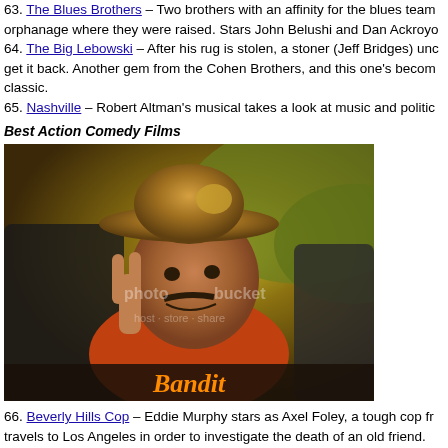63. The Blues Brothers – Two brothers with an affinity for the blues team orphanage where they were raised. Stars John Belushi and Dan Ackroyo
64. The Big Lebowski – After his rug is stolen, a stoner (Jeff Bridges) unc get it back. Another gem from the Cohen Brothers, and this one's becom classic.
65. Nashville – Robert Altman's musical takes a look at music and politic
Best Action Comedy Films
[Figure (photo): A man wearing a cowboy hat sitting in a car making a peace sign, with 'Bandit' text at the bottom. Appears to be from the Smokey and the Bandit film. Has a photobucket watermark.]
66. Beverly Hills Cop – Eddie Murphy stars as Axel Foley, a tough cop fr travels to Los Angeles in order to investigate the death of an old friend.
67. Big Trouble in Little China – Kurt Russell braves Chinese gods, bizar